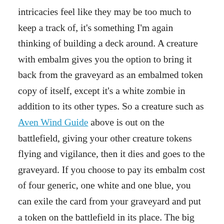intricacies feel like they may be too much to keep a track of, it's something I'm again thinking of building a deck around. A creature with embalm gives you the option to bring it back from the graveyard as an embalmed token copy of itself, except it's a white zombie in addition to its other types. So a creature such as Aven Wind Guide above is out on the battlefield, giving your other creature tokens flying and vigilance, then it dies and goes to the graveyard. If you choose to pay its embalm cost of four generic, one white and one blue, you can exile the card from your graveyard and put a token on the battlefield in its place. The big drawback is touted as exile, meaning you could at most get one reactivation of the creature, but I might see how that sort of deck would look sometime soon.